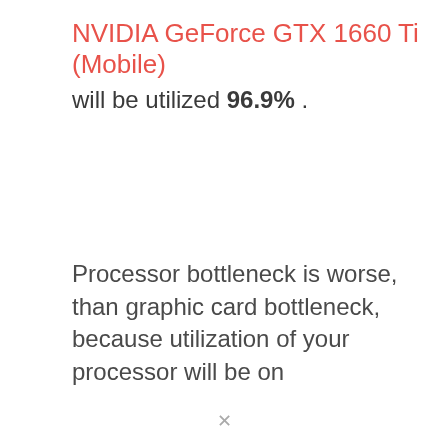NVIDIA GeForce GTX 1660 Ti (Mobile) will be utilized 96.9% .
Processor bottleneck is worse, than graphic card bottleneck, because utilization of your processor will be on